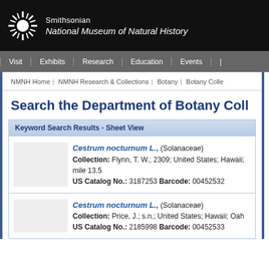[Figure (logo): Smithsonian National Museum of Natural History logo with sunburst icon and text]
Visit | Exhibits | Research | Education | Events
NMNH Home | NMNH Research & Collections | Botany | Botany Colle
Search the Department of Botany Coll
Keyword Search Results - Sheet View
Cestrum nocturnum L., (Solanaceae)
Collection: Flynn, T. W.; 2309; United States; Hawaii; mile 13.5
US Catalog No.: 3187253 Barcode: 00452532
Cestrum nocturnum L., (Solanaceae)
Collection: Price, J.; s.n.; United States; Hawaii; Oah
US Catalog No.: 2185998 Barcode: 00452533